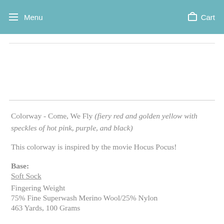Menu   Cart
Colorway - Come, We Fly (fiery red and golden yellow with speckles of hot pink, purple, and black)
This colorway is inspired by the movie Hocus Pocus!
Base:
Soft Sock
Fingering Weight
75% Fine Superwash Merino Wool/25% Nylon
463 Yards, 100 Grams